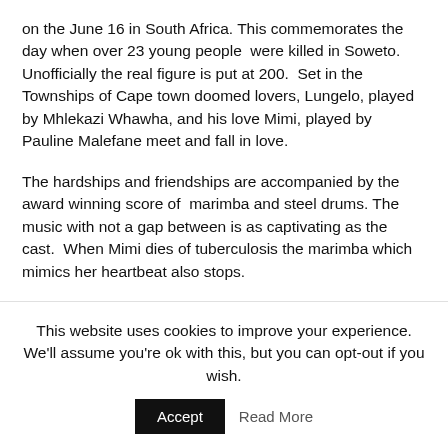on the June 16 in South Africa. This commemorates the day when over 23 young people were killed in Soweto. Unofficially the real figure is put at 200. Set in the Townships of Cape town doomed lovers, Lungelo, played by Mhlekazi Whawha, and his love Mimi, played by Pauline Malefane meet and fall in love.
The hardships and friendships are accompanied by the award winning score of marimba and steel drums. The music with not a gap between is as captivating as the cast. When Mimi dies of tuberculosis the marimba which mimics her heartbeat also stops.
The company and the Hackney Empire have joined up with the the Global Fund to fight aids, tuberculosis and malaria. Many of the performers are from townships which “are amongst some of the world’s highest infection areas for TB” while many of the
This website uses cookies to improve your experience. We'll assume you're ok with this, but you can opt-out if you wish.
Accept   Read More